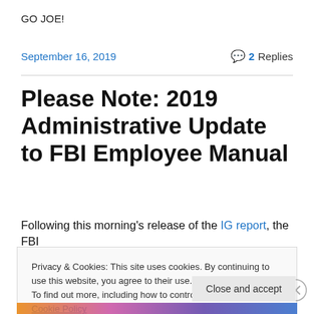GO JOE!
September 16, 2019    💬 2 Replies
Please Note: 2019 Administrative Update to FBI Employee Manual
Following this morning's release of the IG report, the FBI
Privacy & Cookies: This site uses cookies. By continuing to use this website, you agree to their use.
To find out more, including how to control cookies, see here: Cookie Policy
Close and accept